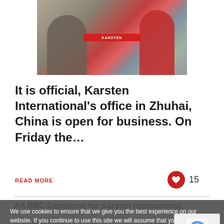[Figure (photo): Two people attaching or examining a red Karsten banner/ribbon together indoors]
It is official, Karsten International's office in Zhuhai, China is open for business. On Friday the…
READ MORE
15
We use cookies to ensure that we give you the best experience on our website. If you continue to use this site we will assume that you are happy with it.
Ok   Read more
AA BRC Certificate for Karsten International.
by Karsten International in Cases